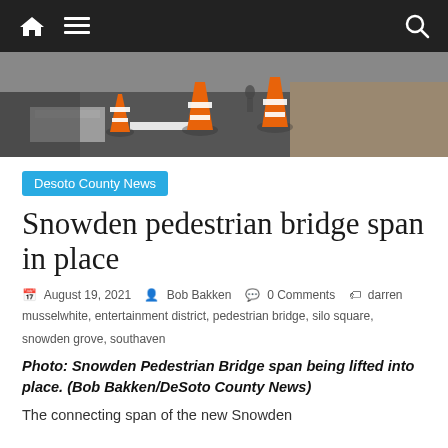Navigation bar with home, menu, and search icons
[Figure (photo): Construction photo showing orange traffic barrels/cones on a road surface, likely at the Snowden Pedestrian Bridge construction site]
Desoto County News
Snowden pedestrian bridge span in place
August 19, 2021  Bob Bakken  0 Comments  darren musselwhite, entertainment district, pedestrian bridge, silo square, snowden grove, southaven
Photo: Snowden Pedestrian Bridge span being lifted into place. (Bob Bakken/DeSoto County News)
The connecting span of the new Snowden